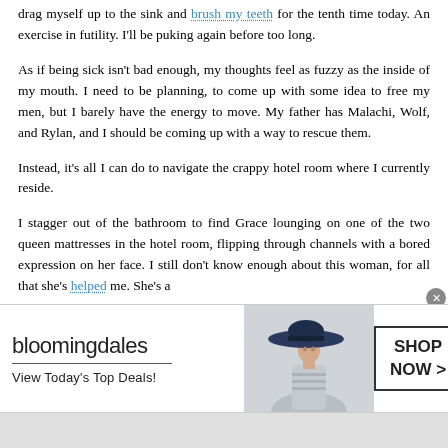drag myself up to the sink and brush my teeth for the tenth time today. An exercise in futility. I'll be puking again before too long.
As if being sick isn't bad enough, my thoughts feel as fuzzy as the inside of my mouth. I need to be planning, to come up with some idea to free my men, but I barely have the energy to move. My father has Malachi, Wolf, and Rylan, and I should be coming up with a way to rescue them.
Instead, it's all I can do to navigate the crappy hotel room where I currently reside.
I stagger out of the bathroom to find Grace lounging on one of the two queen mattresses in the hotel room, flipping through channels with a bored expression on her face. I still don't know enough about this woman, for all that she's helped me. She's a
[Figure (other): Bloomingdale's advertisement banner with logo, tagline 'View Today's Top Deals!', image of woman in large hat, and 'SHOP NOW >' button]